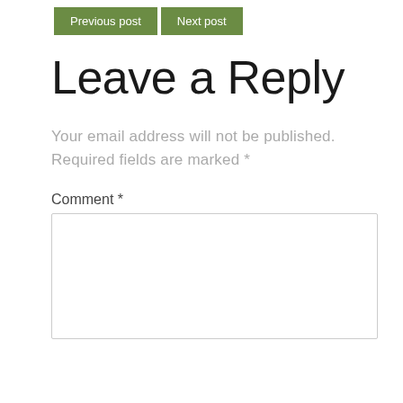Previous post | Next post
Leave a Reply
Your email address will not be published. Required fields are marked *
Comment *
[Figure (other): Empty comment text area input box with light gray border]